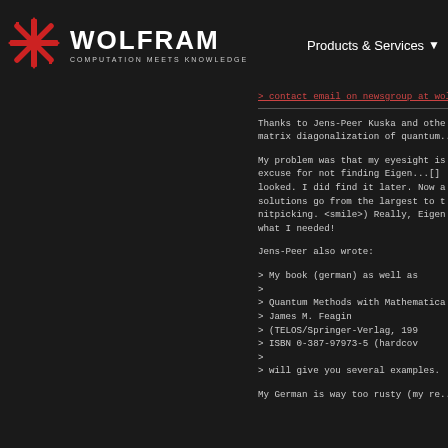WOLFRAM COMPUTATION MEETS KNOWLEDGE | Products & Services
> [contact email on newsgroup at wolfram...]

Thanks to Jens-Peer Kuska and othe... matrix diagonalization of quantum...

My problem was that my eyesight is... excuse for not finding Eigen...[] looked. I did find it later. Now a... solutions go from the largest to t... nitpicking. <smile>) Really, Eigen... what I needed!

Jens-Peer also wrote:

> My book (german) as well as
>
> Quantum Methods with Mathematica...
>       James M. Feagin
>       (TELOS/Springer-Verlag, 199...
>       ISBN 0-387-97973-5 (hardcov...
>
> will give you several examples.

My German is way too rusty (my re...